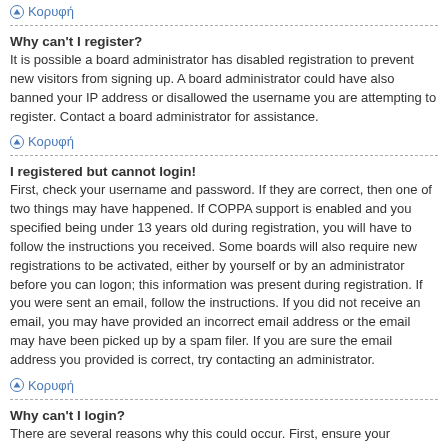Κορυφή
Why can't I register?
It is possible a board administrator has disabled registration to prevent new visitors from signing up. A board administrator could have also banned your IP address or disallowed the username you are attempting to register. Contact a board administrator for assistance.
Κορυφή
I registered but cannot login!
First, check your username and password. If they are correct, then one of two things may have happened. If COPPA support is enabled and you specified being under 13 years old during registration, you will have to follow the instructions you received. Some boards will also require new registrations to be activated, either by yourself or by an administrator before you can logon; this information was present during registration. If you were sent an email, follow the instructions. If you did not receive an email, you may have provided an incorrect email address or the email may have been picked up by a spam filer. If you are sure the email address you provided is correct, try contacting an administrator.
Κορυφή
Why can't I login?
There are several reasons why this could occur. First, ensure your username and password are correct. If they are, contact a board administrator to make sure you